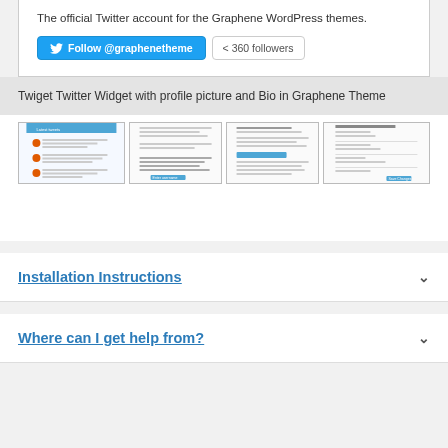The official Twitter account for the Graphene WordPress themes.
[Figure (screenshot): Twitter Follow @graphenetheme button and 360 followers count button]
Twiget Twitter Widget with profile picture and Bio in Graphene Theme
[Figure (screenshot): Four screenshot thumbnails showing Twiget Twitter Widget in different views]
Installation Instructions
Where can I get help from?